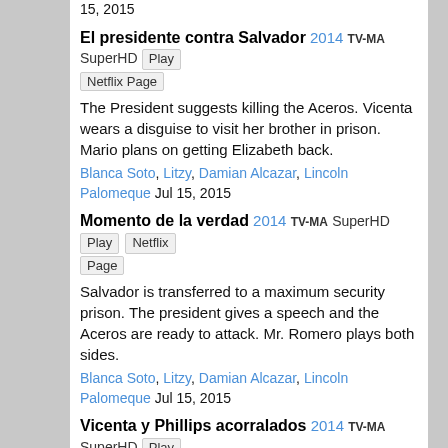15, 2015
El presidente contra Salvador 2014 TV-MA SuperHD Play Netflix Page
The President suggests killing the Aceros. Vicenta wears a disguise to visit her brother in prison. Mario plans on getting Elizabeth back.
Blanca Soto, Litzy, Damian Alcazar, Lincoln Palomeque Jul 15, 2015
Momento de la verdad 2014 TV-MA SuperHD Play Netflix Page
Salvador is transferred to a maximum security prison. The president gives a speech and the Aceros are ready to attack. Mr. Romero plays both sides.
Blanca Soto, Litzy, Damian Alcazar, Lincoln Palomeque Jul 15, 2015
Vicenta y Phillips acorralados 2014 TV-MA SuperHD Play Netflix Page
The police shoot at Phillips and capture Vicenta. Salvador meets his benefactor, who reminds him of the value of his name and promises to help him.
Blanca Soto, Litzy, Damian Alcazar, Lincoln Palomeque Jul 15, 2015